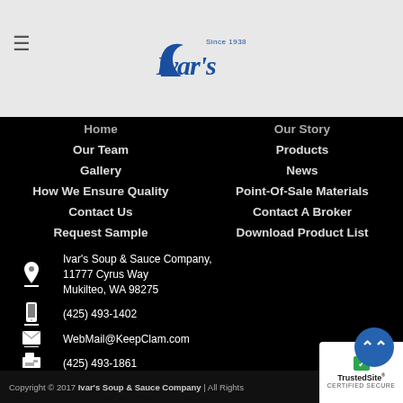[Figure (logo): Ivar's Since 1938 script logo in blue on light gray background]
Home
Our Story
Our Team
Products
Gallery
News
How We Ensure Quality
Point-Of-Sale Materials
Contact Us
Contact A Broker
Request Sample
Download Product List
Ivar's Soup & Sauce Company, 11777 Cyrus Way Mukilteo, WA 98275
(425) 493-1402
WebMail@KeepClam.com
(425) 493-1861
Copyright © 2017 Ivar's Soup & Sauce Company | All Rights